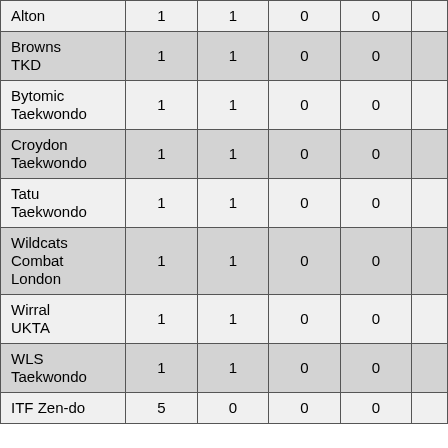| Alton | 1 | 1 | 0 | 0 |  |
| Browns TKD | 1 | 1 | 0 | 0 |  |
| Bytomic Taekwondo | 1 | 1 | 0 | 0 |  |
| Croydon Taekwondo | 1 | 1 | 0 | 0 |  |
| Tatu Taekwondo | 1 | 1 | 0 | 0 |  |
| Wildcats Combat London | 1 | 1 | 0 | 0 |  |
| Wirral UKTA | 1 | 1 | 0 | 0 |  |
| WLS Taekwondo | 1 | 1 | 0 | 0 |  |
| ITF Zen-do | 5 | 0 | 0 | 0 |  |